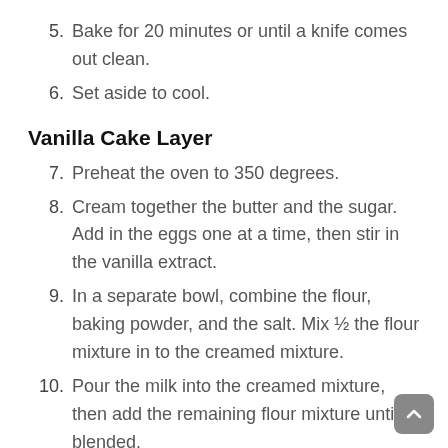5. Bake for 20 minutes or until a knife comes out clean.
6. Set aside to cool.
Vanilla Cake Layer
7. Preheat the oven to 350 degrees.
8. Cream together the butter and the sugar. Add in the eggs one at a time, then stir in the vanilla extract.
9. In a separate bowl, combine the flour, baking powder, and the salt. Mix ½ the flour mixture in to the creamed mixture.
10. Pour the milk into the creamed mixture, then add the remaining flour mixture until blended.
11. Pour the batter into a greased 9 inch cake pan.